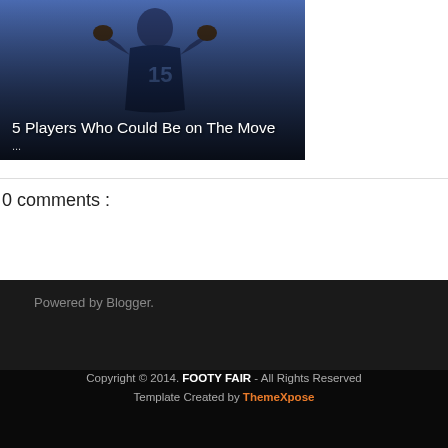[Figure (photo): Soccer player in blue jersey number 15 with hands on head, overlaid with article title text]
5 Players Who Could Be on The Move
...
0 comments :
Newer Post
Home
View web version
Older P
Powered by Blogger.
Copyright © 2014. FOOTY FAIR - All Rights Reserved
Template Created by ThemeXpose